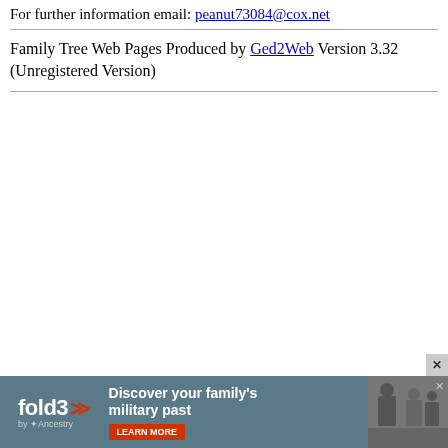For further information email: peanut73084@cox.net
Family Tree Web Pages Produced by Ged2Web Version 3.32 (Unregistered Version)
[Figure (infographic): Fold3 by Ancestry advertisement banner: 'Discover your family's military past' with Learn More button and black-and-white photo of soldiers]